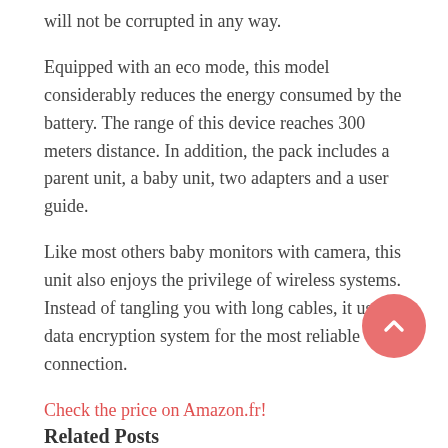will not be corrupted in any way.
Equipped with an eco mode, this model considerably reduces the energy consumed by the battery. The range of this device reaches 300 meters distance. In addition, the pack includes a parent unit, a baby unit, two adapters and a user guide.
Like most others baby monitors with camera, this unit also enjoys the privilege of wireless systems. Instead of tangling you with long cables, it uses a data encryption system for the most reliable connection.
Check the price on Amazon.fr!
Source link: Motorola MBP 48 review – review and price
– Thismumslife.com
MBP, Motorola, price, review
Related Posts